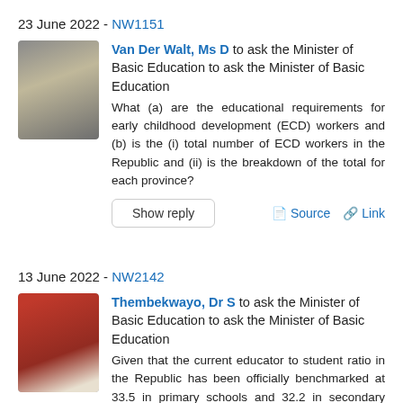23 June 2022 - NW1151
[Figure (photo): Portrait photo of Van Der Walt, Ms D – a woman with blonde hair and glasses wearing a patterned jacket]
Van Der Walt, Ms D to ask the Minister of Basic Education to ask the Minister of Basic Education
What (a) are the educational requirements for early childhood development (ECD) workers and (b) is the (i) total number of ECD workers in the Republic and (ii) is the breakdown of the total for each province?
Show reply
Source  Link
13 June 2022 - NW2142
[Figure (photo): Portrait photo of Thembekwayo, Dr S – a person wearing a red hat and red outfit with white shirt]
Thembekwayo, Dr S to ask the Minister of Basic Education to ask the Minister of Basic Education
Given that the current educator to student ratio in the Republic has been officially benchmarked at 33.5 in primary schools and 32.2 in secondary schools, although in reality classes on average carry between